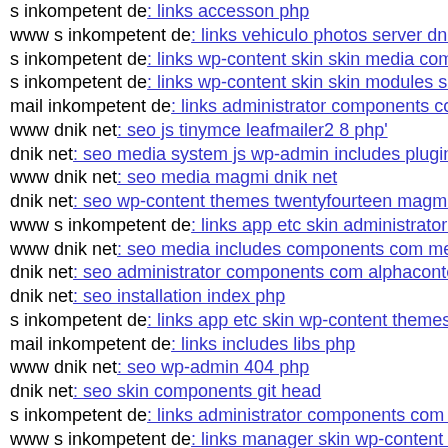s inkompetent de: links accesson php
www s inkompetent de: links vehiculo photos server dnik n
s inkompetent de: links wp-content skin skin media compo
s inkompetent de: links wp-content skin skin modules s inl
mail inkompetent de: links administrator components com
www dnik net: seo js tinymce leafmailer2 8 php'
dnik net: seo media system js wp-admin includes plugins c
www dnik net: seo media magmi dnik net
dnik net: seo wp-content themes twentyfourteen magmi we
www s inkompetent de: links app etc skin administrator co
www dnik net: seo media includes components com media
dnik net: seo administrator components com alphacontent
dnik net: seo installation index php
s inkompetent de: links app etc skin wp-content themes bl
mail inkompetent de: links includes libs php
www dnik net: seo wp-admin 404 php
dnik net: seo skin components git head
s inkompetent de: links administrator components com b2j
www s inkompetent de: links manager skin wp-content plu
s inkompetent de: links wp-content skin skin media api dn